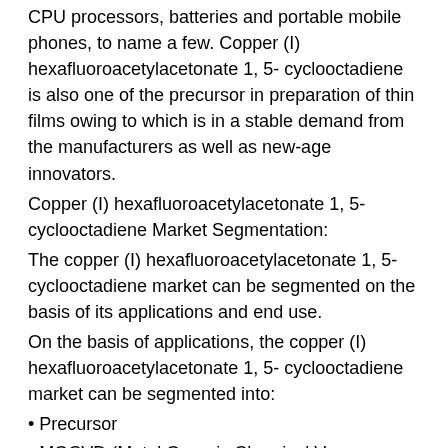CPU processors, batteries and portable mobile phones, to name a few. Copper (I) hexafluoroacetylacetonate 1, 5- cyclooctadiene is also one of the precursor in preparation of thin films owing to which is in a stable demand from the manufacturers as well as new-age innovators.
Copper (I) hexafluoroacetylacetonate 1, 5-cyclooctadiene Market Segmentation:
The copper (I) hexafluoroacetylacetonate 1, 5-cyclooctadiene market can be segmented on the basis of its applications and end use.
On the basis of applications, the copper (I) hexafluoroacetylacetonate 1, 5- cyclooctadiene market can be segmented into:
• Precursor
• MOCVD (Metal Organic Chemical Vapour